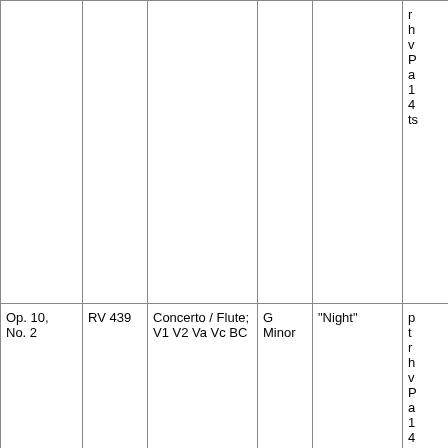| Op./No. | RV | Type / Scoring | Key | Title | Notes |
| --- | --- | --- | --- | --- | --- |
|  |  |  |  |  | r
h
v
P
a
1
4
ts |
| Op. 10,
No. 2 | RV 439 | Concerto / Flute;
V1 V2 Va Vc BC | G Minor | "Night" | p
t
r
h
v
P
a
1
4
ts |
| Op. 10,
No. 3 | RV 428 | Concerto / Flute;
V1 V2 Va Vc BC | D Major | "The Goldfinch" | p
t
r
h
v
P
a
1 |